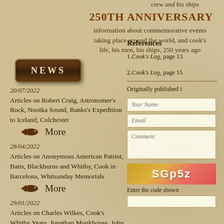crew and his ships
250TH ANNIVERSARY
information about commemorative events taking place around the world, and cook's life, his men, his ships, 250 years ago
[Figure (illustration): NEWS button with dark brown wooden plaque style label]
20/07/2022
Articles on Robert Craig, Astronomer's Rock, Nootka Sound, Banks's Expedition to Iceland, Colchester
More
28/04/2022
Articles on Anonymous American Patriot, Batts, Blackburns and Whitby, Cook in Barcelona, Whitsunday Memorials
More
29/01/2022
Articles on Charles Wilkes, Cook's Whitby Years, Jonathan Monkhouse, John Elliott
References
1.Cook's Log, page 13
2.Cook's Log, page 15
Originally published i
Your Name
Email
Comment
[Figure (other): CAPTCHA image showing text SGp5z]
Enter the code shown